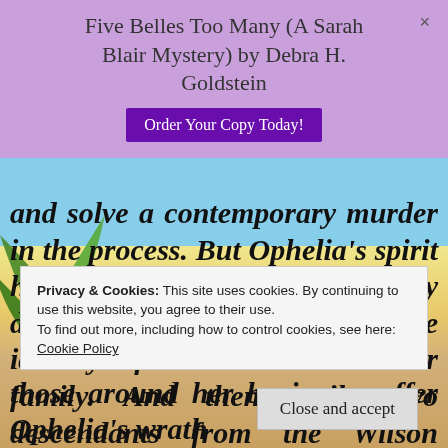Five Belles Too Many (A Sarah Blair Mystery) by Debra H. Goldstein
and solve a contemporary murder in the process. But Ophelia's spirit has returned, this time angrily demanding that Cass expose the identity of whoever did kill her family. And then eerily, two descendants from the Wilson family tree are murdered, suggesting that Ophelia has the power to meddle in modern-day events to
Privacy & Cookies: This site uses cookies. By continuing to use this website, you agree to their use.
To find out more, including how to control cookies, see here:
Cookie Policy
those around her begin to suffer Ophelia's wrath